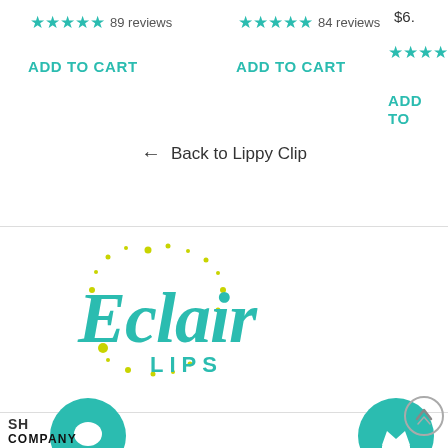★★★★★ 89 reviews
★★★★★ 84 reviews
$6.
★★★★
ADD TO CART
ADD TO CART
ADD TO
← Back to Lippy Clip
[Figure (logo): Eclair Lips logo with teal script text and yellow-green dots]
SH
COMPANY